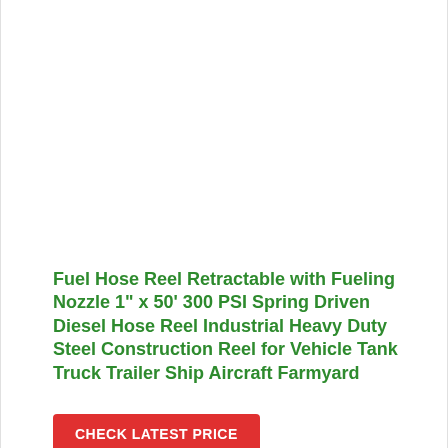[Figure (photo): Product image area (white/blank) for fuel hose reel product]
Fuel Hose Reel Retractable with Fueling Nozzle 1" x 50' 300 PSI Spring Driven Diesel Hose Reel Industrial Heavy Duty Steel Construction Reel for Vehicle Tank Truck Trailer Ship Aircraft Farmyard
CHECK LATEST PRICE